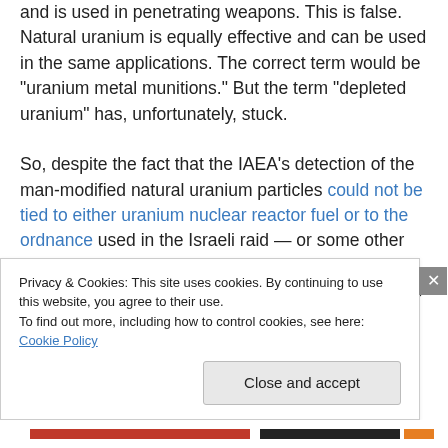and is used in penetrating weapons. This is false. Natural uranium is equally effective and can be used in the same applications. The correct term would be "uranium metal munitions." But the term "depleted uranium" has, unfortunately, stuck.

So, despite the fact that the IAEA's detection of the man-modified natural uranium particles could not be tied to either uranium nuclear reactor fuel or to the ordnance used in the Israeli raid — or some other source — with high confidence, the IAEA used the results of its environmental inspections to attempt to implicate Syria in
Privacy & Cookies: This site uses cookies. By continuing to use this website, you agree to their use.
To find out more, including how to control cookies, see here: Cookie Policy